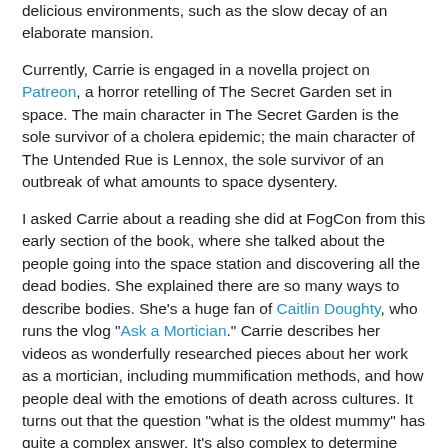delicious environments, such as the slow decay of an elaborate mansion.
Currently, Carrie is engaged in a novella project on Patreon, a horror retelling of The Secret Garden set in space. The main character in The Secret Garden is the sole survivor of a cholera epidemic; the main character of The Untended Rue is Lennox, the sole survivor of an outbreak of what amounts to space dysentery.
I asked Carrie about a reading she did at FogCon from this early section of the book, where she talked about the people going into the space station and discovering all the dead bodies. She explained there are so many ways to describe bodies. She's a huge fan of Caitlin Doughty, who runs the vlog "Ask a Mortician." Carrie describes her videos as wonderfully researched pieces about her work as a mortician, including mummification methods, and how people deal with the emotions of death across cultures. It turns out that the question "what is the oldest mummy" has quite a complex answer. It's also complex to determine who owns human remains after a certain period of time. Caitlin